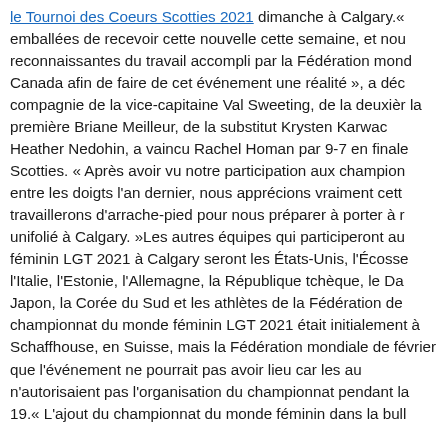le Tournoi des Coeurs Scotties 2021 dimanche à Calgary.« emballées de recevoir cette nouvelle cette semaine, et nous reconnaissantes du travail accompli par la Fédération mondiale du Canada afin de faire de cet événement une réalité », a déclaré en compagnie de la vice-capitaine Val Sweeting, de la deuxième la première Briane Meilleur, de la substitut Krysten Karwacki et Heather Nedohin, a vaincu Rachel Homan par 9-7 en finale au Scotties. « Après avoir vu notre participation aux championnats entre les doigts l'an dernier, nous apprécions vraiment cette travaillerons d'arrache-pied pour nous préparer à porter à nouveau unifolié à Calgary. »Les autres équipes qui participeront au féminin LGT 2021 à Calgary seront les États-Unis, l'Écosse, l'Italie, l'Estonie, l'Allemagne, la République tchèque, le Danemark, Japon, la Corée du Sud et les athlètes de la Fédération de championnat du monde féminin LGT 2021 était initialement prévu à Schaffhouse, en Suisse, mais la Fédération mondiale de février que l'événement ne pourrait pas avoir lieu car les autorités n'autorisaient pas l'organisation du championnat pendant la COVID-19.« L'ajout du championnat du monde féminin dans la bulle